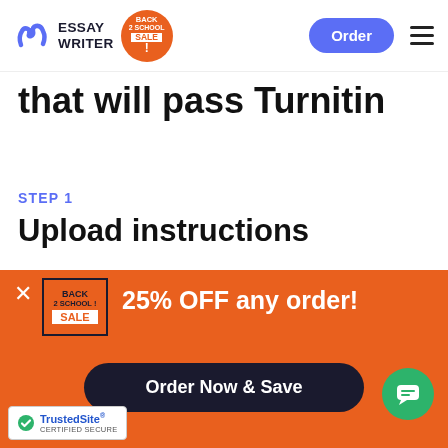ESSAY WRITER | Back 2 School Sale | Order
that will pass Turnitin
STEP 1
Upload instructions
Fill out the order form, providing general and specific paper details. Attach screenshots or add additional instructions if needed. Seel...
[Figure (infographic): Orange promo banner overlay with Back 2 School Sale badge, '25% OFF any order!' text, 'Order Now & Save' dark button, green chat button, and TrustedSite certified secure badge.]